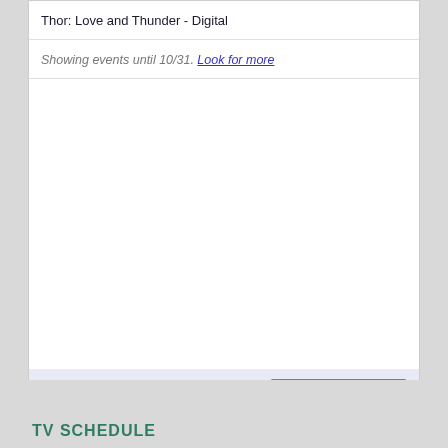Thor: Love and Thunder - Digital
Showing events until 10/31. Look for more
[Figure (logo): + Google Calendar button logo in blue with white plus sign]
TV SCHEDULE